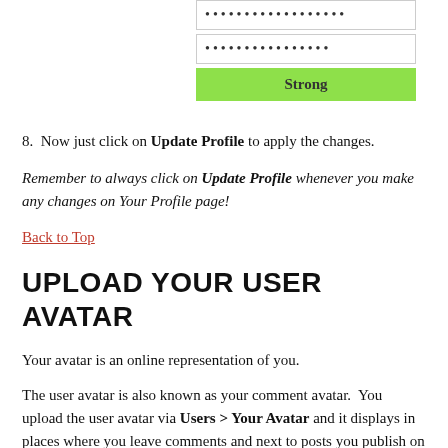[Figure (screenshot): Password input field with dots, a second password field with dots, and a green 'Strong' password strength indicator bar]
8.  Now just click on Update Profile to apply the changes.
Remember to always click on Update Profile whenever you make any changes on Your Profile page!
Back to Top
UPLOAD YOUR USER AVATAR
Your avatar is an online representation of you.
The user avatar is also known as your comment avatar.  You upload the user avatar via Users > Your Avatar and it displays in places where you leave comments and next to posts you publish on some themes.